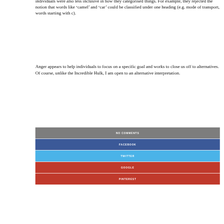individuals were also less inclusive in how they categorised things. For example, they rejected the notion that words like ‘camel’ and ‘car’ could be classified under one heading (e.g. mode of transport, words starting with c).
Anger appears to help individuals to focus on a specific goal and works to close us off to alternatives. Of course, unlike the Incredible Hulk, I am open to an alternative interpretation.
NO COMMENTS
FACEBOOK
TWITTER
GOOGLE
PINTEREST